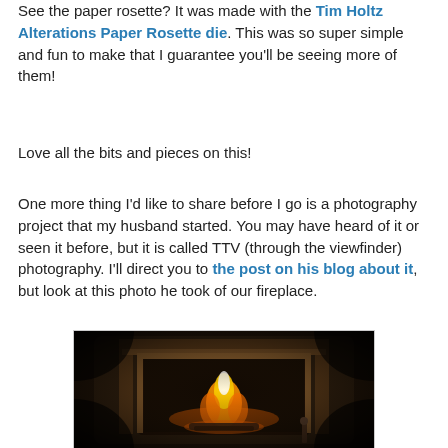See the paper rosette? It was made with the Tim Holtz Alterations Paper Rosette die. This was so super simple and fun to make that I guarantee you'll be seeing more of them!
Love all the bits and pieces on this!
One more thing I'd like to share before I go is a photography project that my husband started. You may have heard of it or seen it before, but it is called TTV (through the viewfinder) photography. I'll direct you to the post on his blog about it, but look at this photo he took of our fireplace.
[Figure (photo): A TTV (through the viewfinder) photograph of a fireplace with a warm fire burning inside a wooden mantel surround, dark vignette border effect]